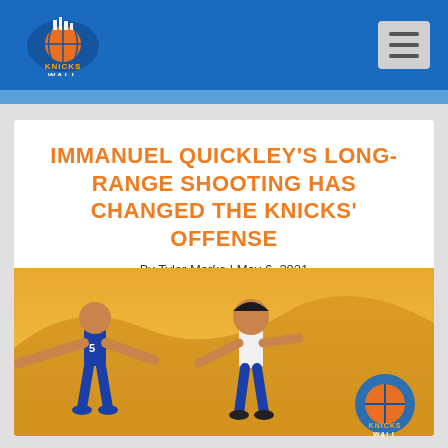Knicks Wall
IMMANUEL QUICKLEY'S LONG-RANGE SHOOTING HAS CHANGED THE KNICKS' OFFENSE
By Tyler Marko | May 6, 2021
[Figure (illustration): Illustrated artwork showing two basketball players (Knicks themed) in blue and yellow/gold colors against an orange/yellow background, with a Knicks Wall logo watermark in the lower right corner.]